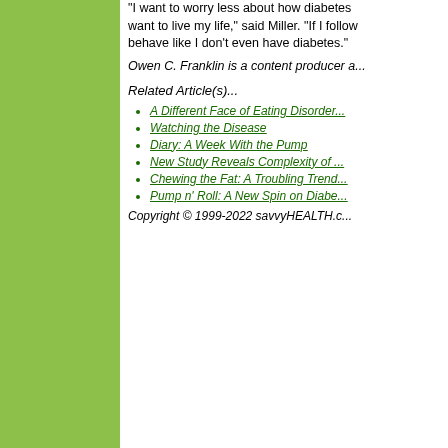"I want to worry less about how diabetes affects how I want to live my life," said Miller. "If I follow my plan, I can behave like I don't even have diabetes."
Owen C. Franklin is a content producer a...
Related Article(s)...
A Different Face of Eating Disorder...
Watching the Disease
Diary: A Week With the Pump
New Study Reveals Complexity of ...
Chewing the Fat: A Troubling Trend...
Pump n' Roll: A New Spin on Diabe...
Copyright © 1999-2022 savvyHEALTH.c...